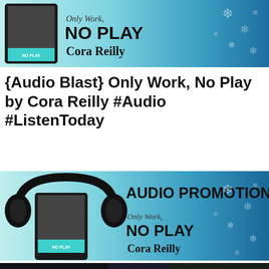[Figure (illustration): Promotional banner for audiobook 'Only Work, No Play' by Cora Reilly. Shows a tablet e-reader with the book cover on a light teal/winter blue background with snowflakes on the right side. Book title 'NO PLAY' in large bold text with cursive 'Only Work,' above it and 'Cora Reilly' below.]
{Audio Blast} Only Work, No Play by Cora Reilly #Audio #ListenToday
[Figure (illustration): Audio promotion banner for 'Only Work, No Play' by Cora Reilly. Shows a tablet with the book cover wearing large headphones, on a teal/blue winter background with snowflakes. 'AUDIO PROMOTION' in large bold text at top right, book title 'NO PLAY' with cursive 'Only Work,' and 'Cora Reilly' below.]
[Figure (photo): Partial view of a dark/winter themed promotional image, cropped at the bottom edge of the page.]